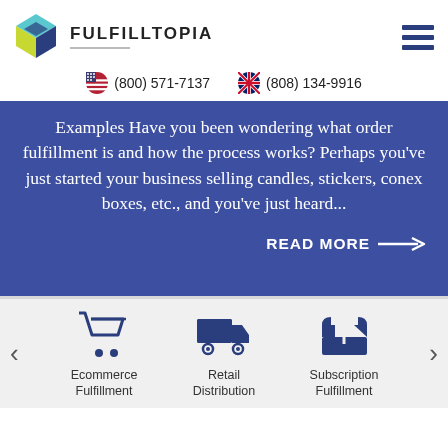[Figure (logo): Fulfilltopia logo with colorful cube and FULFILLTOPIA text]
(800) 571-7137   (808) 134-9916
Examples Have you been wondering what order fulfillment is and how the process works? Perhaps you've just started your business selling candles, stickers, conex boxes, etc., and you've just heard...
READ MORE →
[Figure (infographic): Three service icons: Ecommerce Fulfillment (shopping cart), Retail Distribution (delivery truck), Subscription Fulfillment (open box with arrow)]